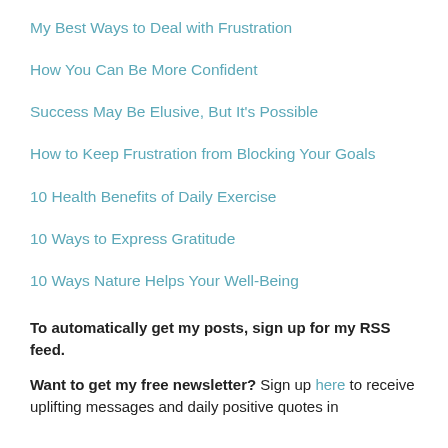My Best Ways to Deal with Frustration
How You Can Be More Confident
Success May Be Elusive, But It's Possible
How to Keep Frustration from Blocking Your Goals
10 Health Benefits of Daily Exercise
10 Ways to Express Gratitude
10 Ways Nature Helps Your Well-Being
To automatically get my posts, sign up for my RSS feed.
Want to get my free newsletter? Sign up here to receive uplifting messages and daily positive quotes in